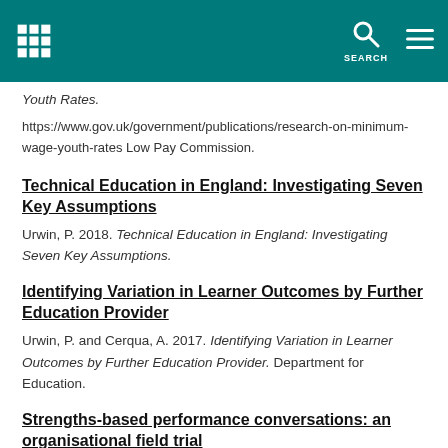SEARCH
Young People Aged 16 to 24: Research Informing a Review of Youth Rates. https://www.gov.uk/government/publications/research-on-minimum-wage-youth-rates Low Pay Commission.
Technical Education in England: Investigating Seven Key Assumptions
Urwin, P. 2018. Technical Education in England: Investigating Seven Key Assumptions.
Identifying Variation in Learner Outcomes by Further Education Provider
Urwin, P. and Cerqua, A. 2017. Identifying Variation in Learner Outcomes by Further Education Provider. Department for Education.
Strengths-based performance conversations: an organisational field trial
Gifford, J., Urwin, P. and Cerqua, A. 2017. Strengths-based